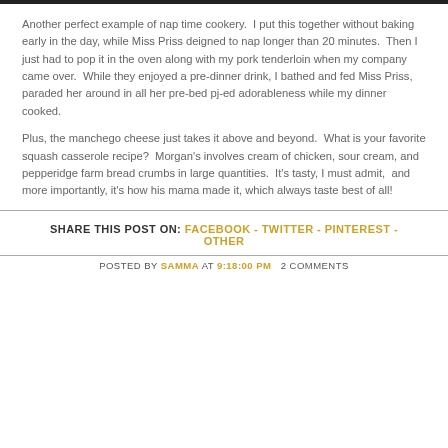Another perfect example of nap time cookery.  I put this together without baking early in the day, while Miss Priss deigned to nap longer than 20 minutes.  Then I just had to pop it in the oven along with my pork tenderloin when my company came over.  While they enjoyed a pre-dinner drink, I bathed and fed Miss Priss, paraded her around in all her pre-bed pj-ed adorableness while my dinner cooked.
Plus, the manchego cheese just takes it above and beyond.  What is your favorite squash casserole recipe?  Morgan's involves cream of chicken, sour cream, and pepperidge farm bread crumbs in large quantities.  It's tasty, I must admit,  and more importantly, it's how his mama made it, which always taste best of all!
SHARE THIS POST ON: FACEBOOK - TWITTER - PINTEREST - OTHER
POSTED BY SAMMA AT 9:18:00 PM   2 COMMENTS